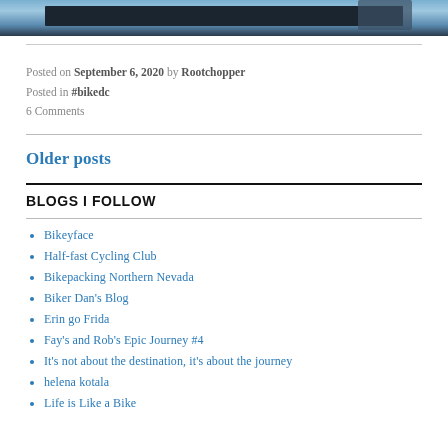[Figure (photo): Partial photo strip at top of page showing a building structure against a blue sky, cropped at the top edge.]
Posted on September 6, 2020 by Rootchopper
Posted in #bikedc
6 Comments
Older posts
BLOGS I FOLLOW
Bikeyface
Half-fast Cycling Club
Bikepacking Northern Nevada
Biker Dan's Blog
Erin go Frida
Fay's and Rob's Epic Journey #4
It's not about the destination, it's about the journey
helena kotala
Life is Like a Bike